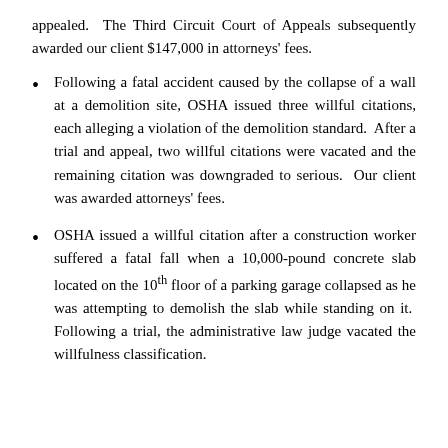appealed. The Third Circuit Court of Appeals subsequently awarded our client $147,000 in attorneys' fees.
Following a fatal accident caused by the collapse of a wall at a demolition site, OSHA issued three willful citations, each alleging a violation of the demolition standard. After a trial and appeal, two willful citations were vacated and the remaining citation was downgraded to serious. Our client was awarded attorneys' fees.
OSHA issued a willful citation after a construction worker suffered a fatal fall when a 10,000-pound concrete slab located on the 10th floor of a parking garage collapsed as he was attempting to demolish the slab while standing on it. Following a trial, the administrative law judge vacated the willfulness classification.